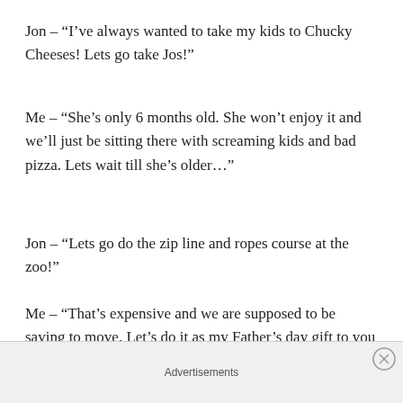Jon – “I’ve always wanted to take my kids to Chucky Cheeses! Lets go take Jos!”
Me – “She’s only 6 months old. She won’t enjoy it and we’ll just be sitting there with screaming kids and bad pizza. Lets wait till she’s older…”
Jon – “Lets go do the zip line and ropes course at the zoo!”
Me – “That’s expensive and we are supposed to be saving to move. Let’s do it as my Father’s day gift to you
Advertisements